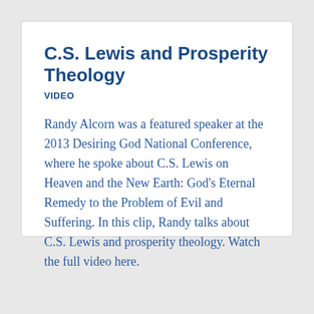C.S. Lewis and Prosperity Theology
VIDEO
Randy Alcorn was a featured speaker at the 2013 Desiring God National Conference, where he spoke about C.S. Lewis on Heaven and the New Earth: God's Eternal Remedy to the Problem of Evil and Suffering. In this clip, Randy talks about C.S. Lewis and prosperity theology. Watch the full video here.